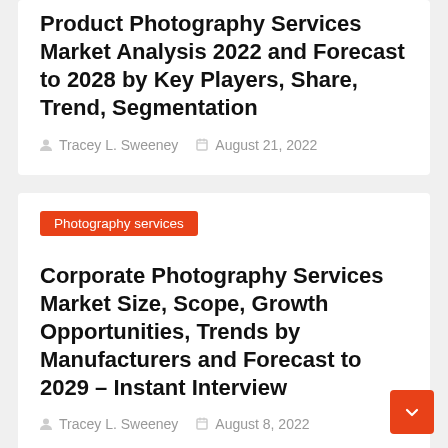Product Photography Services Market Analysis 2022 and Forecast to 2028 by Key Players, Share, Trend, Segmentation
Tracey L. Sweeney   August 21, 2022
Photography services
Corporate Photography Services Market Size, Scope, Growth Opportunities, Trends by Manufacturers and Forecast to 2029 – Instant Interview
Tracey L. Sweeney   August 8, 2022